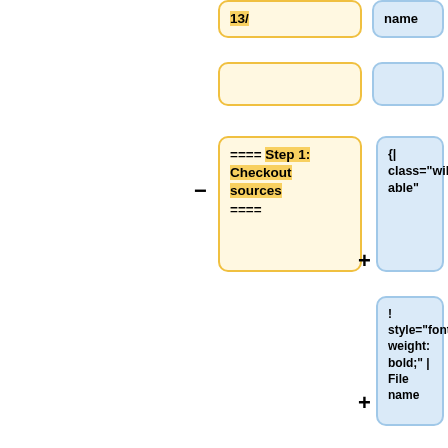[Figure (flowchart): Diff/flowchart showing wiki markup changes. Left column contains yellow boxes with wiki source content (13/, blank, ==== Step 1: Checkout sources ====). Right column contains blue boxes with wiki table markup ({| class="wikitable", ! style="font-weight: bold;" | File name, ! style="font-weight: bold;" | date, ! style="font-weight: bold;" | build type). Minus and plus operators indicate removal and addition.]